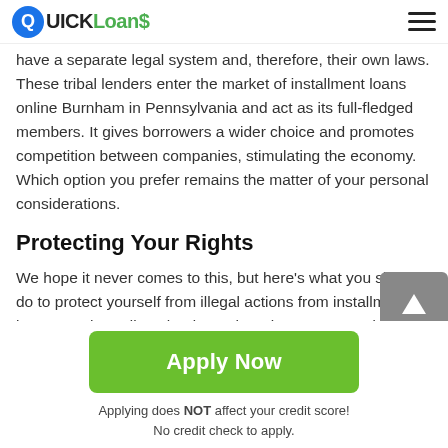QUICK Loans
have a separate legal system and, therefore, their own laws. These tribal lenders enter the market of installment loans online Burnham in Pennsylvania and act as its full-fledged members. It gives borrowers a wider choice and promotes competition between companies, stimulating the economy. Which option you prefer remains the matter of your personal considerations.
Protecting Your Rights
We hope it never comes to this, but here's what you should do to protect yourself from illegal actions from installment loans Burnham direct lenders. The primary agency dealing
Apply Now
Applying does NOT affect your credit score!
No credit check to apply.